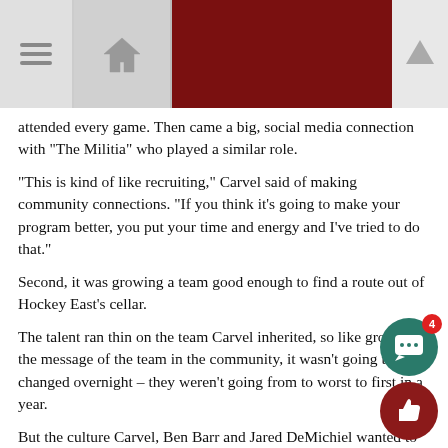[Navigation header with menu, home, and up arrow icons]
attended every game. Then came a big, social media connection with “The Militia” who played a similar role.
“This is kind of like recruiting,” Carvel said of making community connections. “If you think it’s going to make your program better, you put your time and energy and I’ve tried to do that.”
Second, it was growing a team good enough to find a route out of Hockey East’s cellar.
The talent ran thin on the team Carvel inherited, so like growing the message of the team in the community, it wasn’t going to be changed overnight – they weren’t going from to worst to first in a year.
But the culture Carvel, Ben Barr and Jared DeMichiel wanted to set was clear.
“It’s built on integrity and communication, on competing,” DeMi... said when asked to define the culture they love to talk about. “It’s about just being really honest with yourself. There’s a huge lev... honesty within the locker room, within the players from the coa...